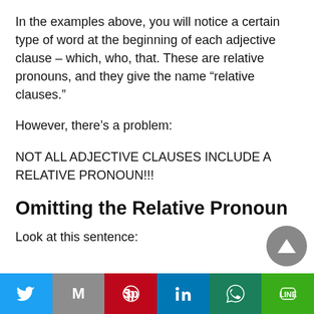In the examples above, you will notice a certain type of word at the beginning of each adjective clause – which, who, that. These are relative pronouns, and they give the name “relative clauses.”
However, there’s a problem:
NOT ALL ADJECTIVE CLAUSES INCLUDE A RELATIVE PRONOUN!!!
Omitting the Relative Pronoun
Look at this sentence:
[Figure (other): Social sharing bar with Twitter, Gmail, Pinterest, LinkedIn, WhatsApp, and Line buttons]